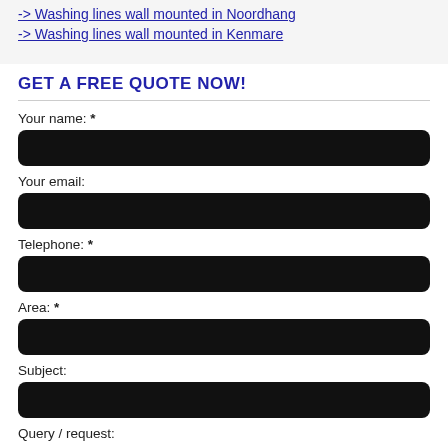-> Washing lines wall mounted in Noordhang
-> Washing lines wall mounted in Kenmare
GET A FREE QUOTE NOW!
Your name: *
Your email:
Telephone: *
Area: *
Subject:
Query / request: